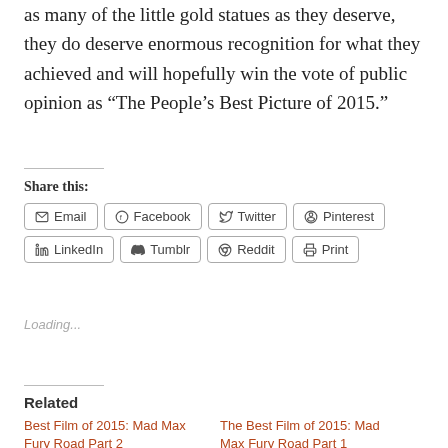as many of the little gold statues as they deserve, they do deserve enormous recognition for what they achieved and will hopefully win the vote of public opinion as “The People’s Best Picture of 2015.”
Share this:
Email | Facebook | Twitter | Pinterest | LinkedIn | Tumblr | Reddit | Print
Loading...
Related
Best Film of 2015: Mad Max Fury Road Part 2
The Best Film of 2015: Mad Max Fury Road Part 1